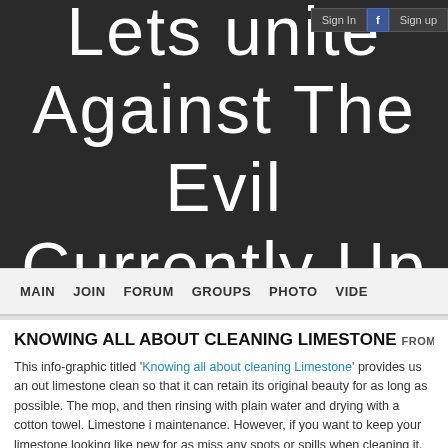[Figure (screenshot): Website banner with dark background showing large white thin-font text 'Lets unite Against The Evil Currently Up' with Sign In, Facebook, and Sign up buttons in top right corner]
MAIN  JOIN  FORUM  GROUPS  PHOTO  VIDE
KNOWING ALL ABOUT CLEANING LIMESTONE FROM TIMSCOTT
This info-graphic titled 'Knowing all about cleaning Limestone' provides us an out limestone clean so that it can retain its original beauty for as long as possible. The mop, and then rinsing with plain water and drying with a cotton towel. Limestone i maintenance. However, if you want to keep your limestone looking like new for as miss any spots or spills when cleaning it.